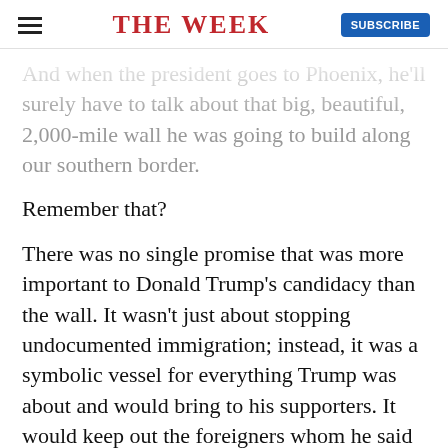THE WEEK
And when the president goes to Phoenix, he'll surely have to talk about that big, beautiful, 2,000-mile wall he was going to build along our southern border.
Remember that?
There was no single promise that was more important to Donald Trump's candidacy than the wall. It wasn't just about stopping undocumented immigration; instead, it was a symbolic vessel for everything Trump was about and would bring to his supporters. It would keep out the foreigners whom he said were stealing their jobs, killing their children, and transforming their communities. It would make